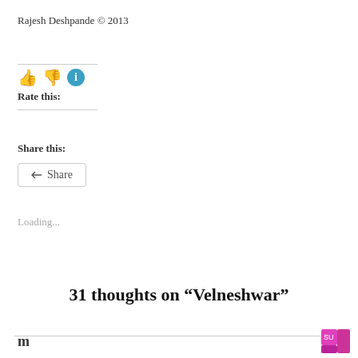Rajesh Deshpande © 2013
Rate this:
Share this:
Share
Loading...
31 thoughts on “Velneshwar”